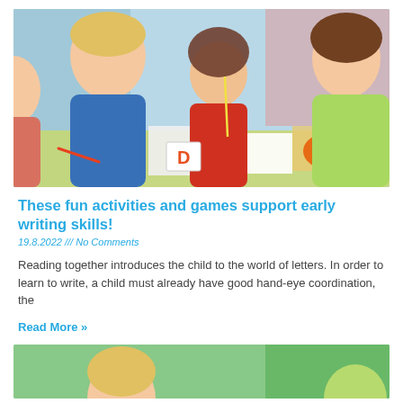[Figure (photo): Children sitting at a table doing crafts and writing activities with colored pencils in a classroom setting]
These fun activities and games support early writing skills!
19.8.2022 /// No Comments
Reading together introduces the child to the world of letters. In order to learn to write, a child must already have good hand-eye coordination, the
Read More »
[Figure (photo): Partial view of a child in a classroom or outdoor setting, bottom of page cropped]